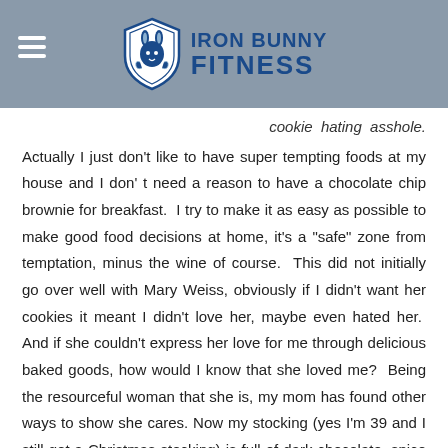[Figure (logo): Iron Bunny Fitness logo with shield icon and hamburger menu on a gray header bar]
cookie hating asshole.
Actually I just don't like to have super tempting foods at my house and I don't need a reason to have a chocolate chip brownie for breakfast. I try to make it as easy as possible to make good food decisions at home, it's a "safe" zone from temptation, minus the wine of course. This did not initially go over well with Mary Weiss, obviously if I didn't want her cookies it meant I didn't love her, maybe even hated her. And if she couldn't express her love for me through delicious baked goods, how would I know that she loved me? Being the resourceful woman that she is, my mom has found other ways to show she cares. Now my stocking (yes I'm 39 and I still get a Christmas stocking) is full of dark chocolate, spice rubs and Justin's Almond Butter. My mom is still the Cookie Lady for